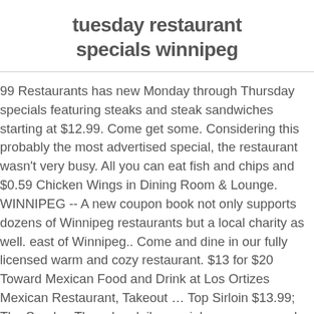tuesday restaurant specials winnipeg
99 Restaurants has new Monday through Thursday specials featuring steaks and steak sandwiches starting at $12.99. Come get some. Considering this probably the most advertised special, the restaurant wasn't very busy. All you can eat fish and chips and $0.59 Chicken Wings in Dining Room & Lounge. WINNIPEG -- A new coupon book not only supports dozens of Winnipeg restaurants but a local charity as well. east of Winnipeg.. Come and dine in our fully licensed warm and cozy restaurant. $13 for $20 Toward Mexican Food and Drink at Los Ortizes Mexican Restaurant, Takeout … Top Sirloin $13.99; The Sunday-Thursday daily special was announced on the 99 Restaurants Home Page. Daily Specials . Browse our lunch specials, deals, & more prior to your visit. Highballs - $4.00 Draught Sleeves … The restaurant, which can be found in Winnipeg's Exchange District, is a